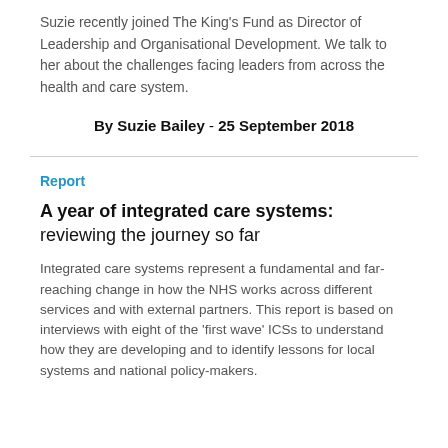Suzie recently joined The King's Fund as Director of Leadership and Organisational Development. We talk to her about the challenges facing leaders from across the health and care system.
By Suzie Bailey - 25 September 2018
Report
A year of integrated care systems: reviewing the journey so far
Integrated care systems represent a fundamental and far-reaching change in how the NHS works across different services and with external partners. This report is based on interviews with eight of the 'first wave' ICSs to understand how they are developing and to identify lessons for local systems and national policy-makers.